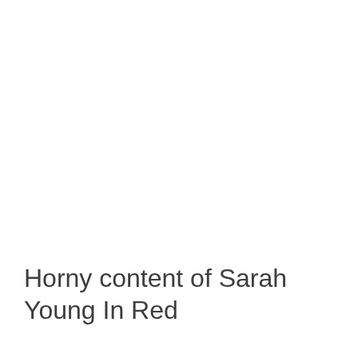Horny content of Sarah Young In Red